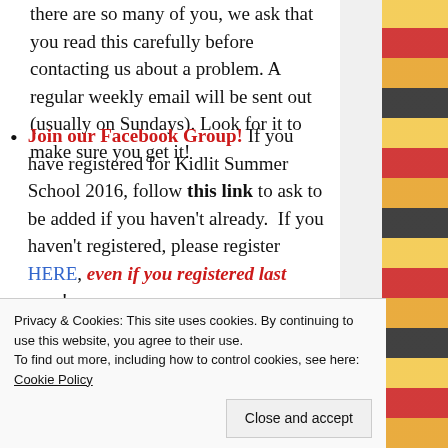there are so many of you, we ask that you read this carefully before contacting us about a problem. A regular weekly email will be sent out (usually on Sundays). Look for it to make sure you get it!
Join our Facebook Group! If you have registered for Kidlit Summer School 2016, follow this link to ask to be added if you haven't already. If you haven't registered, please register HERE, even if you registered last year!
Participate in our Twitter
Privacy & Cookies: This site uses cookies. By continuing to use this website, you agree to their use.
To find out more, including how to control cookies, see here: Cookie Policy
Close and accept